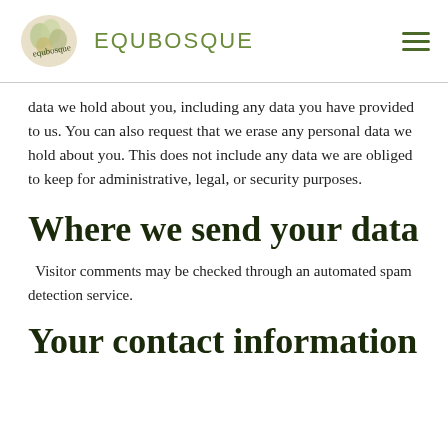EQUBOSQUE
data we hold about you, including any data you have provided to us. You can also request that we erase any personal data we hold about you. This does not include any data we are obliged to keep for administrative, legal, or security purposes.
Where we send your data
Visitor comments may be checked through an automated spam detection service.
Your contact information